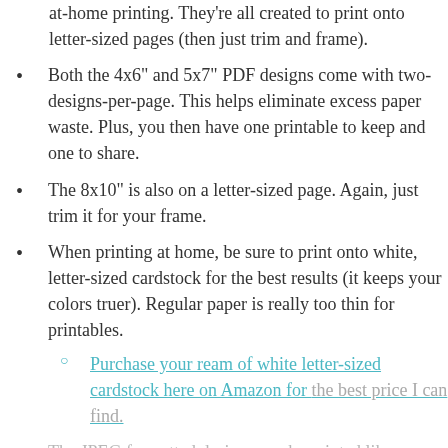at-home printing. They're all created to print onto letter-sized pages (then just trim and frame).
Both the 4x6" and 5x7" PDF designs come with two-designs-per-page. This helps eliminate excess paper waste. Plus, you then have one printable to keep and one to share.
The 8x10" is also on a letter-sized page. Again, just trim it for your frame.
When printing at home, be sure to print onto white, letter-sized cardstock for the best results (it keeps your colors truer). Regular paper is really too thin for printables.
Purchase your ream of white letter-sized cardstock here on Amazon for the best price I can find.
The JPEG formatted designs can be printed like